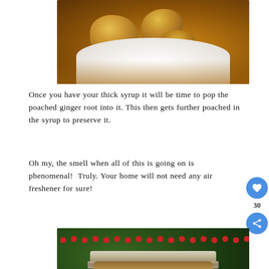[Figure (photo): Close-up photo of poached ginger root pieces in a white bowl with syrup]
Once you have your thick syrup it will be time to pop the poached ginger root into it. This then gets further poached in the syrup to preserve it.
Oh my, the smell when all of this is going on is phenomenal!  Truly. Your home will not need any air freshener for sure!
[Figure (photo): Photo of a mason jar of preserved ginger syrup in front of Christmas tree decorations with red bead garland, with a 'What's Next' overlay showing Ginger Cheesecake...]